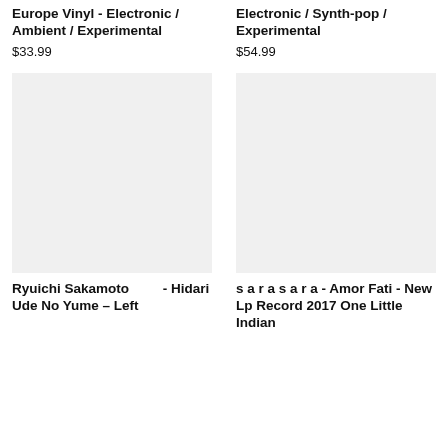Europe Vinyl - Electronic / Ambient / Experimental
$33.99
Electronic / Synth-pop / Experimental
$54.99
[Figure (photo): Product image placeholder (light gray square) for Ryuichi Sakamoto vinyl]
[Figure (photo): Product image placeholder (light gray square) for s a r a s a r a vinyl]
Ryuichi Sakamoto         - Hidari Ude No Yume – Left
s a r a s a r a - Amor Fati - New Lp Record 2017 One Little Indian